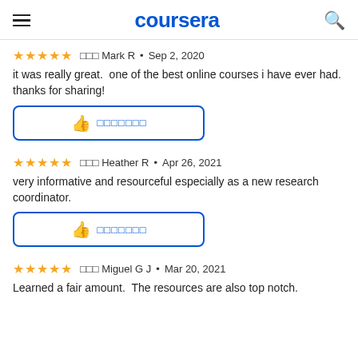coursera
☆☆☆☆☆  ☐☐☐ Mark R  •  Sep 2, 2020
it was really great.  one of the best online courses i have ever had.  thanks for sharing!
[Figure (other): Helpful thumbs up button with placeholder text]
☆☆☆☆☆  ☐☐☐ Heather R  •  Apr 26, 2021
very informative and resourceful especially as a new research coordinator.
[Figure (other): Helpful thumbs up button with placeholder text]
☆☆☆☆☆  ☐☐☐ Miguel G J  •  Mar 20, 2021
Learned a fair amount.  The resources are also top notch.